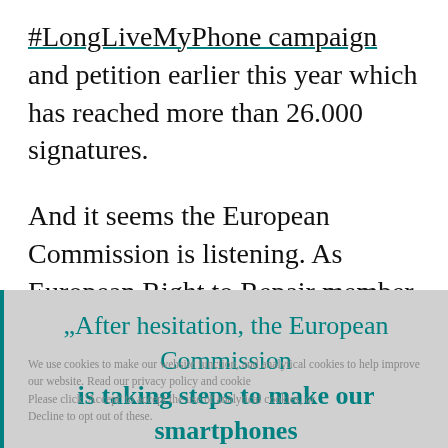#LongLiveMyPhone campaign and petition earlier this year which has reached more than 26.000 signatures.
And it seems the European Commission is listening. As European Right to Repair member Ernestas Oldyrevas puts it:
„After hesitation, the European Commission is taking steps to make our smartphones last longer and be easier to repair. An exploratory study underway this year will pave the way for a whole set of ambitious new requirements on more
We use cookies to make our website function, and analytical cookies to help improve our website. Read our privacy policy and cookie [policy]. Please click 'Accept' to accept the use of analytical cookies, or Decline to opt out of these.